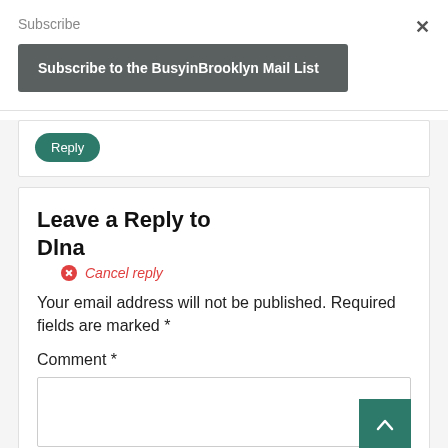Subscribe
Subscribe to the BusyinBrooklyn Mail List
×
Reply
Leave a Reply to
Dlna
Cancel reply
Your email address will not be published. Required fields are marked *
Comment *